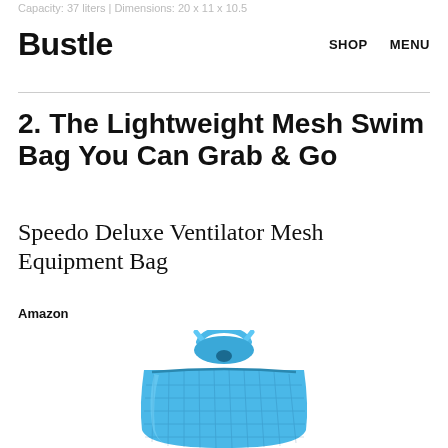Capacity: 37 liters | Dimensions: 20 x 11 x 10.5
Bustle
SHOP   MENU
2. The Lightweight Mesh Swim Bag You Can Grab & Go
Speedo Deluxe Ventilator Mesh Equipment Bag
Amazon
[Figure (photo): Blue Speedo Deluxe Ventilator Mesh Equipment Bag with drawstring top, light blue color with mesh texture visible]